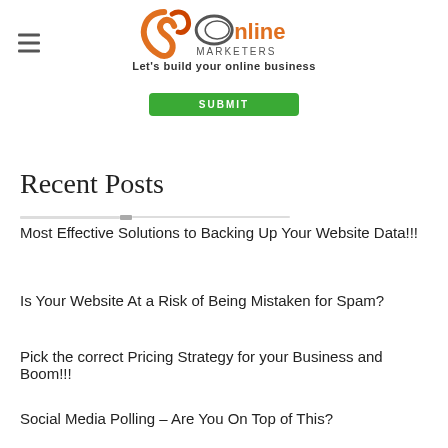JK Online Marketers — Let's build your online business
[Figure (logo): JK Online Marketers logo with orange swirl and text 'Online MARKETERS', tagline 'Let's build your online business']
SUBMIT
Recent Posts
Most Effective Solutions to Backing Up Your Website Data!!!
Is Your Website At a Risk of Being Mistaken for Spam?
Pick the correct Pricing Strategy for your Business and Boom!!!
Social Media Polling – Are You On Top of This?